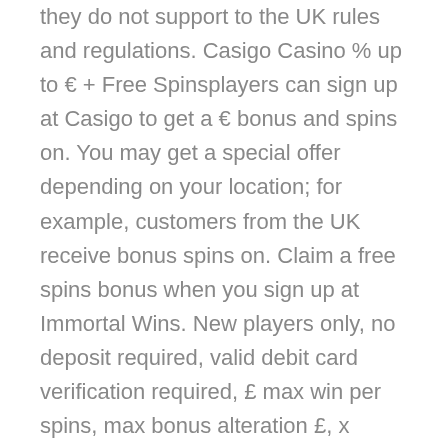they do not support to the UK rules and regulations. Casigo Casino % up to € + Free Spinsplayers can sign up at Casigo to get a € bonus and spins on. You may get a special offer depending on your location; for example, customers from the UK receive bonus spins on. Claim a free spins bonus when you sign up at Immortal Wins. New players only, no deposit required, valid debit card verification required, £ max win per spins, max bonus alteration £, x wagering requirement, full TandCs apply. Spend £ Get Free Bingo tickets and Free Spins. New customer offer accessible via The Wire. Another Matter-of-fact Play Slot game, Ancient Egypt features paylines, and × reels. This is the perfect game for new players with an RTP of. Only bonus funds count towards wagering part. Once...